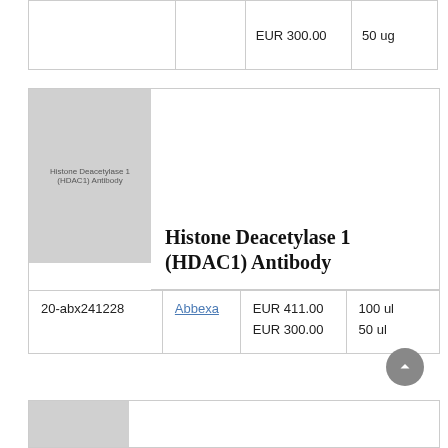|  |  | Price | Quantity |
| --- | --- | --- | --- |
|  |  | EUR 300.00 | 50 ug |
[Figure (photo): Product image placeholder for Histone Deacetylase 1 (HDAC1) Antibody, gray rectangle with small text label]
Histone Deacetylase 1 (HDAC1) Antibody
| ID | Supplier | Price | Quantity |
| --- | --- | --- | --- |
| 20-abx241228 | Abbexa | EUR 411.00
EUR 300.00 | 100 ul
50 ul |
[Figure (photo): Partial product image placeholder at bottom of page, gray rectangle]